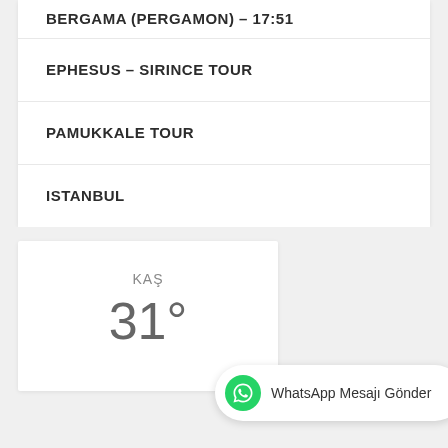EPHESUS – SIRINCE TOUR
PAMUKKALE TOUR
ISTANBUL
KAŞ
31°
WhatsApp Mesajı Gönder